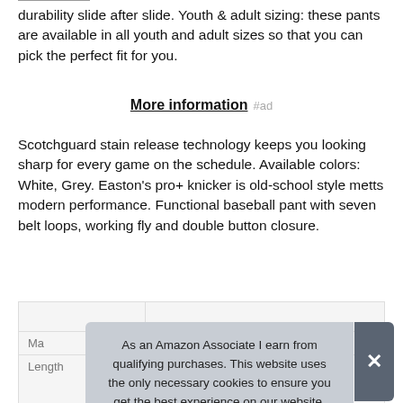durability slide after slide. Youth & adult sizing: these pants are available in all youth and adult sizes so that you can pick the perfect fit for you.
More information #ad
Scotchguard stain release technology keeps you looking sharp for every game on the schedule. Available colors: White, Grey. Easton's pro+ knicker is old-school style metts modern performance. Functional baseball pant with seven belt loops, working fly and double button closure.
| Ma |  |
| Length | 10 inches |
As an Amazon Associate I earn from qualifying purchases. This website uses the only necessary cookies to ensure you get the best experience on our website. More information